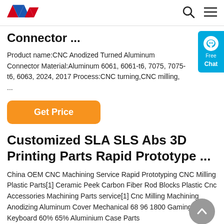AM logo | search | menu
Connector ...
Product name:CNC Anodized Turned Aluminum Connector Material:Aluminum 6061, 6061-t6, 7075, 7075-t6, 6063, 2024, 2017 Process:CNC turning,CNC milling, ...
Get Price
Customized SLA SLS Abs 3D Printing Parts Rapid Prototype ...
China OEM CNC Machining Service Rapid Prototyping CNC Milling Plastic Parts[1] Ceramic Peek Carbon Fiber Rod Blocks Plastic Cnc Accessories Machining Parts service[1] Cnc Milling Machining Anodizing Aluminum Cover Mechanical 68 96 1800 Gaming Keyboard 60% 65% Aluminium Case Parts